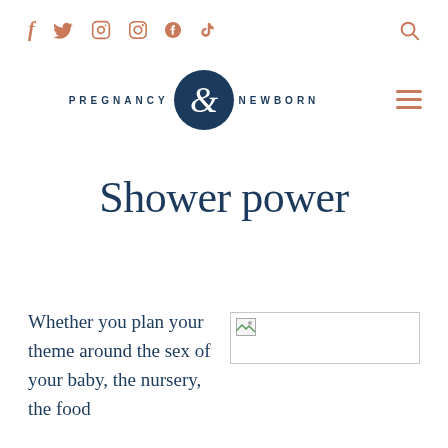Social icons: f, Twitter, Instagram, Pinterest, TikTok | Search icon
[Figure (logo): Pregnancy & Newborn magazine logo with circular emblem containing an ampersand, flanked by PREGNANCY and NEWBORN text in spaced uppercase]
Shower power
Whether you plan your theme around the sex of your baby, the nursery, the food
[Figure (photo): Broken/unloaded image placeholder]